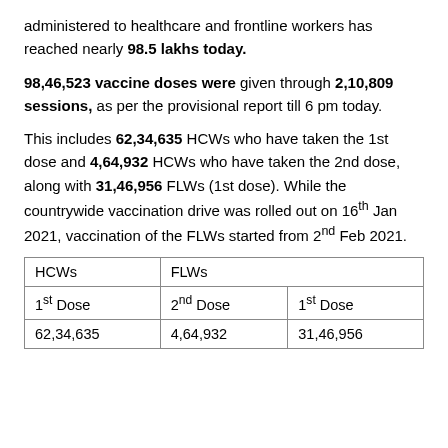administered to healthcare and frontline workers has reached nearly 98.5 lakhs today.
98,46,523 vaccine doses were given through 2,10,809 sessions, as per the provisional report till 6 pm today.
This includes 62,34,635 HCWs who have taken the 1st dose and 4,64,932 HCWs who have taken the 2nd dose, along with 31,46,956 FLWs (1st dose). While the countrywide vaccination drive was rolled out on 16th Jan 2021, vaccination of the FLWs started from 2nd Feb 2021.
| HCWs | FLWs |  |
| --- | --- | --- |
| 1st Dose | 2nd Dose | 1st Dose |
| 62,34,635 | 4,64,932 | 31,46,956 |